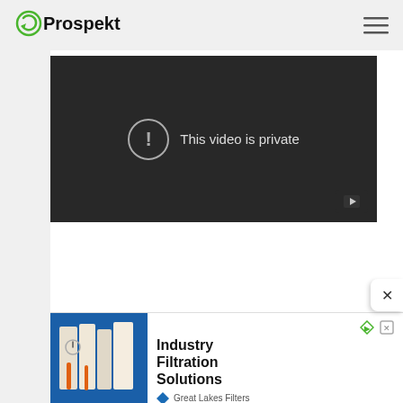[Figure (logo): Prospekt logo with green circular arrow icon and black text]
[Figure (screenshot): Embedded video player showing 'This video is private' message with exclamation icon and YouTube play button]
[Figure (screenshot): Advertisement banner for 'Industry Filtration Solutions' by Great Lakes Filters, with image of industrial filtration equipment]